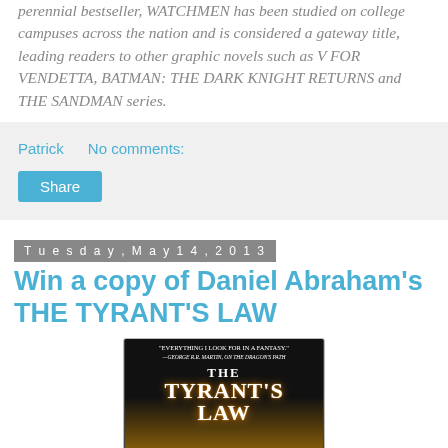perennial bestseller, WATCHMEN has been studied on college campuses across the nation and is considered a gateway title, leading readers to other graphic novels such as V FOR VENDETTA, BATMAN: THE DARK KNIGHT RETURNS and THE SANDMAN series.
Patrick   No comments:
Share
Tuesday, May 14, 2013
Win a copy of Daniel Abraham's THE TYRANT'S LAW
[Figure (photo): Book cover of The Tyrant's Law by Daniel Abraham, with a dark background, fiery dragon image, and text quote from George R.R. Martin: 'Everything I look for in a fantasy.' on The Dragon's Path.]